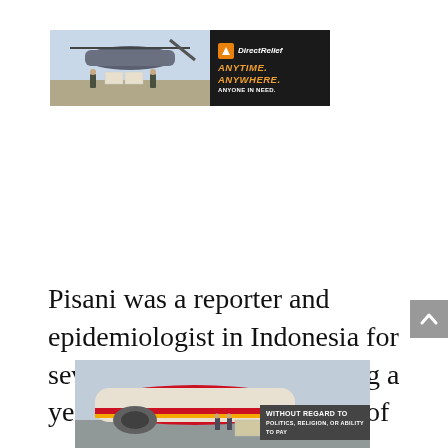[Figure (photo): Direct Relief advertisement banner showing military personnel unloading cargo from a helicopter, with the Direct Relief logo and text 'ANYTIME. ANYWHERE. ANYONE IN NEED.' on a dark background]
Pisani was a reporter and epidemiologist in Indonesia for several years before spending a year traveling from one end of
[Figure (photo): Advertisement showing cargo being loaded onto a commercial aircraft (Southwest Airlines livery visible), with overlay text 'WITHOUT REGARD TO POLITICS, RELIGION, OR ABILITY TO PAY']